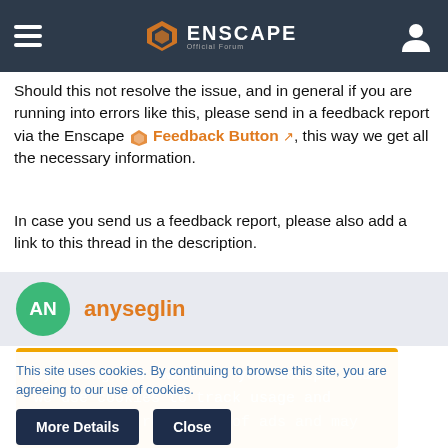Enscape Official Forum
Should this not resolve the issue, and in general if you are running into errors like this, please send in a feedback report via the Enscape Feedback Button, this way we get all the necessary information.
In case you send us a feedback report, please also add a link to this thread in the description.
anyseglin
By using our website you accept that we use cookies to track usage and improve the relevancy of ads and may
This site uses cookies. By continuing to browse this site, you are agreeing to our use of cookies.